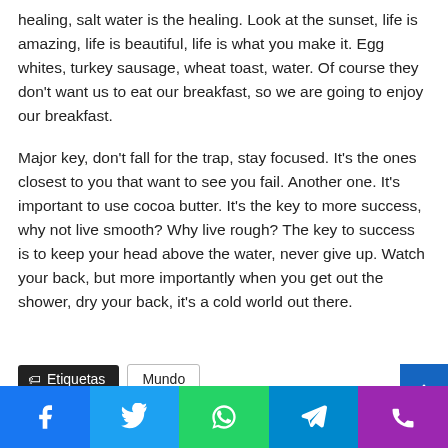healing, salt water is the healing. Look at the sunset, life is amazing, life is beautiful, life is what you make it. Egg whites, turkey sausage, wheat toast, water. Of course they don't want us to eat our breakfast, so we are going to enjoy our breakfast.
Major key, don't fall for the trap, stay focused. It's the ones closest to you that want to see you fail. Another one. It's important to use cocoa butter. It's the key to more success, why not live smooth? Why live rough? The key to success is to keep your head above the water, never give up. Watch your back, but more importantly when you get out the shower, dry your back, it's a cold world out there.
Etiquetas
Mundo